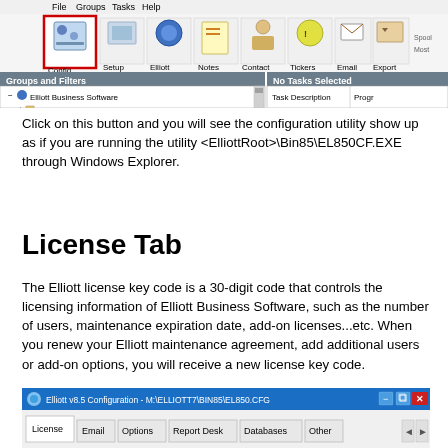[Figure (screenshot): Elliott Business Software toolbar screenshot showing Config, Setup, Elliott, Notes, Contact, Tickers, Email, Export, Spool, Most, Bigger, Smaller, Help buttons. Config button is highlighted with a red border. Below toolbar shows Groups and Filters panel with Elliott Business Software tree and 01 Netcellent System Inc. - Live node, and No Tasks Selected panel with Task Description / Progr columns.]
Click on this button and you will see the configuration utility show up as if you are running the utility <ElliottRoot>\Bin85\EL850CF.EXE through Windows Explorer.
License Tab
The Elliott license key code is a 30-digit code that controls the licensing information of Elliott Business Software, such as the number of users, maintenance expiration date, add-on licenses...etc. When you renew your Elliott maintenance agreement, add additional users or add-on options, you will receive a new license key code.
[Figure (screenshot): Elliott v8.5 Configuration window showing title bar with text 'Elliott v8.5 Configuration - M:\ELLIOTT7\BIN85\EL850.CFG', minimize/maximize/close buttons (close is red), and tab row with License, Email, Options, Report Desk, Databases, Other tabs.]